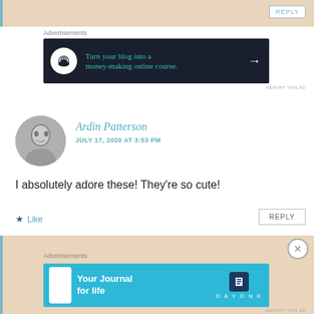[Figure (screenshot): Top partial comment bar with beige background and teal left border, with REPLY button]
Advertisements
[Figure (screenshot): Dark ad banner: Turn your blog into a money-making online course.]
REPORT THIS AD
[Figure (photo): Avatar photo of Ardin Patterson, black and white portrait]
Ardin Patterson
JULY 17, 2020 AT 3:53 PM
I absolutely adore these! They're so cute!
Like
REPLY
[Figure (screenshot): Bottom partial comment bar with beige background and teal left border]
Advertisements
[Figure (screenshot): Blue ad banner: Your Journal for life, Day One app]
REPORT THIS AD